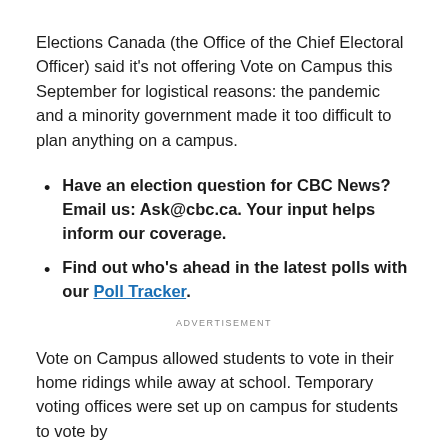Elections Canada (the Office of the Chief Electoral Officer) said it's not offering Vote on Campus this September for logistical reasons: the pandemic and a minority government made it too difficult to plan anything on a campus.
Have an election question for CBC News? Email us: Ask@cbc.ca. Your input helps inform our coverage.
Find out who's ahead in the latest polls with our Poll Tracker.
ADVERTISEMENT
Vote on Campus allowed students to vote in their home ridings while away at school. Temporary voting offices were set up on campus for students to vote by